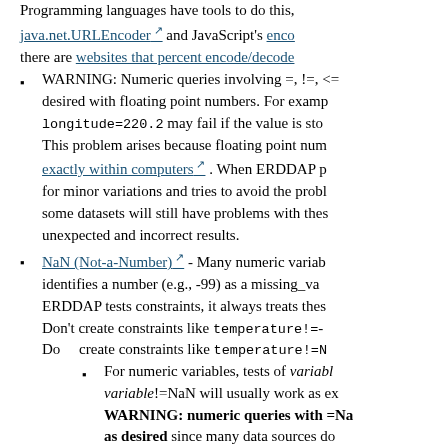Programming languages have tools to do this, e.g., java.net.URLEncoder and JavaScript's encodeURIComponent. Also, there are websites that percent encode/decode
WARNING: Numeric queries involving =, !=, <=, etc. can give unexpected or undesired with floating point numbers. For example, longitude=220.2 may fail if the value is stored as 220.20000000001. This problem arises because floating point numbers can't be represented exactly within computers. When ERDDAP parses constraints, it always tests for minor variations and tries to avoid the problem. But some datasets will still have problems with these queries and give unexpected and incorrect results.
NaN (Not-a-Number) - Many numeric variables use a special value that identifies a number (e.g., -99) as a missing_value or _FillValue. When ERDDAP tests constraints, it always treats these special values as NaN. Don't create constraints like temperature!=-99. Do create constraints like temperature!=NaN.
For numeric variables, tests of variable=NaN and variable!=NaN will usually work as expected. WARNING: numeric queries with =NaN and !=NaN may not work as desired since many data sources don't handle these queries and ERDDAP can't always fix these queries. For some datasets, queries with =NaN or !=NaN will return an error message (insufficient memory or timeout) or query produced no matching results.
For numeric variables, tests of variable with <, >, <=, >= will return false for any value